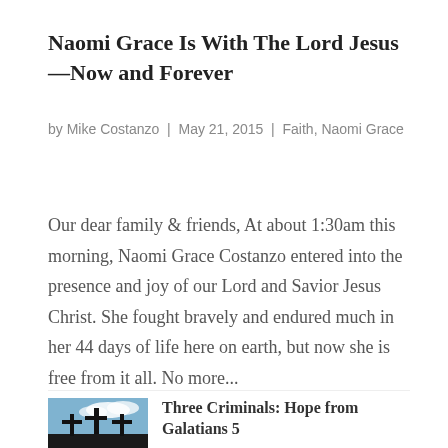Naomi Grace Is With The Lord Jesus—Now and Forever
by Mike Costanzo | May 21, 2015 | Faith, Naomi Grace
Our dear family & friends, At about 1:30am this morning, Naomi Grace Costanzo entered into the presence and joy of our Lord and Savior Jesus Christ. She fought bravely and endured much in her 44 days of life here on earth, but now she is free from it all. No more...
[Figure (photo): Photo of three crosses silhouetted against a blue sky with clouds]
Three Criminals: Hope from Galatians 5